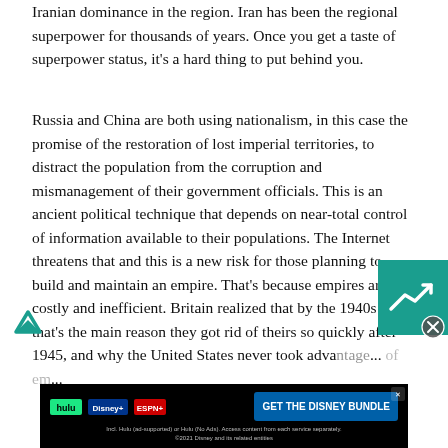Iranian dominance in the region. Iran has been the regional superpower for thousands of years. Once you get a taste of superpower status, it's a hard thing to put behind you.
Russia and China are both using nationalism, in this case the promise of the restoration of lost imperial territories, to distract the population from the corruption and mismanagement of their government officials. This is an ancient political technique that depends on near-total control of information available to their populations. The Internet threatens that and this is a new risk for those planning to build and maintain an empire. That's because empires are costly and inefficient. Britain realized that by the 1940s and that's the main reason they got rid of theirs so quickly after 1945, and why the United States never took advantage... of em...
[Figure (other): Small teal/green widget box with a line chart icon in white, with a circular close button overlay]
[Figure (logo): Freespoke logo - teal arrow/chevron shape on white background, bottom left corner]
[Figure (other): Advertisement banner for Disney Bundle: black background with Hulu, Disney+, and ESPN+ logos on left, 'GET THE DISNEY BUNDLE' blue CTA button on right, small white text below: 'Incl. Hulu (ad-supported) or Hulu (No Ads). Access content from each service separately. ©2021 Disney and its related entities']